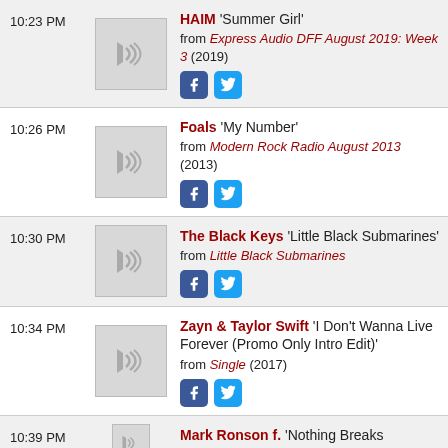10:23 PM — HAIM 'Summer Girl' from Express Audio DFF August 2019: Week 3 (2019)
10:26 PM — Foals 'My Number' from Modern Rock Radio August 2013 (2013)
10:30 PM — The Black Keys 'Little Black Submarines' from Little Black Submarines
10:34 PM — Zayn & Taylor Swift 'I Don't Wanna Live Forever (Promo Only Intro Edit)' from Single (2017)
10:39 PM — Mark Ronson f. 'Nothing Breaks